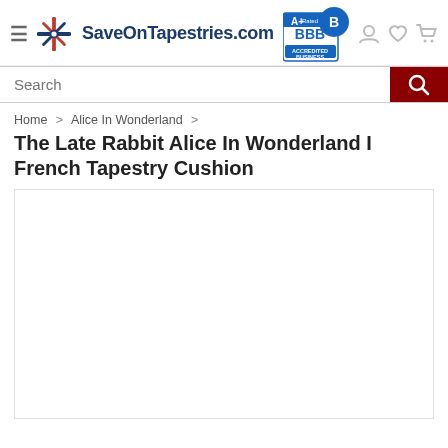[Figure (logo): SaveOnTapestries.com logo with star/snowflake icon and BBB A+ Accredited Business badge]
[Figure (screenshot): Search bar with magnifying glass icon on dark red background]
Home > Alice In Wonderland >
The Late Rabbit Alice In Wonderland I French Tapestry Cushion
[Figure (photo): Product image area (white/blank)]